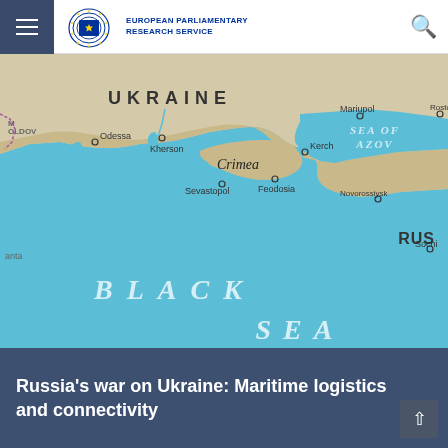European Parliamentary Research Service
[Figure (map): Map of the Black Sea region showing Ukraine, Crimea, Sea of Azov, and Russia. Cities labeled include Odessa, Kherson, Mariupol, Rostov, Kerch, Feodosia, Sevastopol, Novorossiysk, Sochi. The Black Sea and Sea of Azov are labeled in large italic text.]
Russia's war on Ukraine: Maritime logistics and connectivity